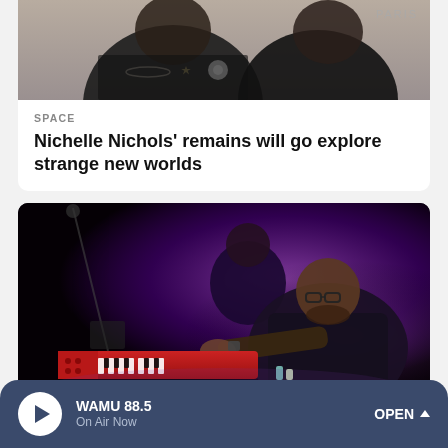[Figure (photo): Photo of a person in black clothing with jewelry, partial view, with PARIS text visible in upper right]
SPACE
Nichelle Nichols' remains will go explore strange new worlds
[Figure (photo): Concert photo of a man with glasses playing a red keyboard/synthesizer on stage under purple lighting, with another person in background]
WAMU 88.5 On Air Now OPEN ^